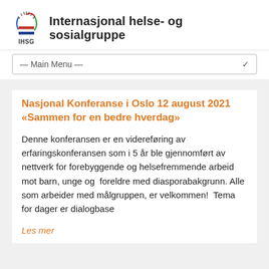Internasjonal helse- og sosialgruppe
— Main Menu —
Nasjonal Konferanse i Oslo 12 august 2021 «Sammen for en bedre hverdag»
Denne konferansen er en videreføring av erfaringskonferansen som i 5 år ble gjennomført av nettverk for forebyggende og helsefremmende arbeid mot barn, unge og  foreldre med diasporabakgrunn. Alle som arbeider med målgruppen, er velkommen!  Tema for dager er dialogbase
Les mer